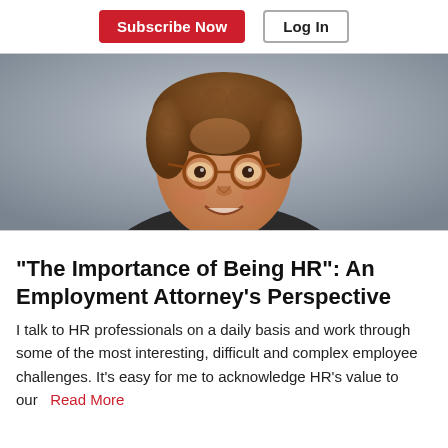Subscribe Now | Log In
[Figure (photo): Professional headshot of an older man with curly brown hair, wearing round tortoiseshell glasses, a dark sport coat, and a light blue shirt, smiling against a grey background.]
“The Importance of Being HR”: An Employment Attorney’s Perspective
I talk to HR professionals on a daily basis and work through some of the most interesting, difficult and complex employee challenges. It’s easy for me to acknowledge HR’s value to our… Read More